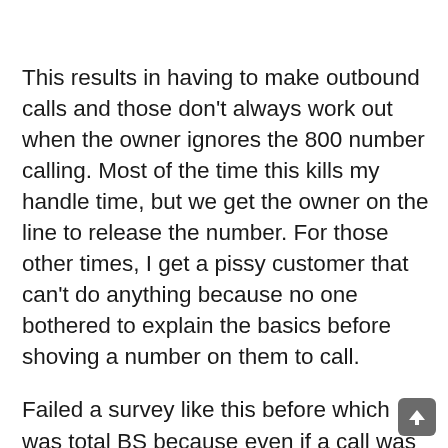This results in having to make outbound calls and those don't always work out when the owner ignores the 800 number calling. Most of the time this kills my handle time, but we get the owner on the line to release the number. For those other times, I get a pissy customer that can't do anything because no one bothered to explain the basics before shoving a number on them to call.
Failed a survey like this before which was total BS because even if a call was disputable due to non authorized caller, the call itself wasn't perfect enough. Been doing this long enough that sometimes I flat out